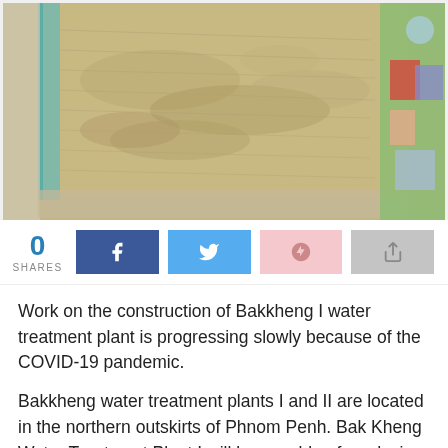[Figure (photo): Aerial view of Bakkheng I water treatment plant construction site, showing large cleared sandy/earthen area with mounds, a teal-colored drainage channel on the left, a road at bottom, and residential buildings with greenery on the right side.]
0
SHARES
Work on the construction of Bakkheng I water treatment plant is progressing slowly because of the COVID-19 pandemic.
Bakkheng water treatment plants I and II are located in the northern outskirts of Phnom Penh. Bak Kheng Water Treatment Plant I will be capable of producing 195,000